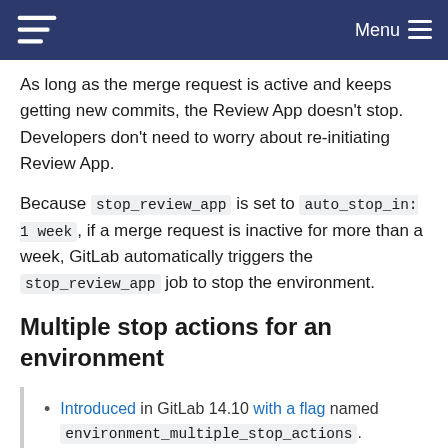Menu
As long as the merge request is active and keeps getting new commits, the Review App doesn't stop. Developers don't need to worry about re-initiating Review App.
Because stop_review_app is set to auto_stop_in: 1 week, if a merge request is inactive for more than a week, GitLab automatically triggers the stop_review_app job to stop the environment.
Multiple stop actions for an environment
Introduced in GitLab 14.10 with a flag named environment_multiple_stop_actions. Disabled by default.
Generally available in GitLab 15.0. Feature flag environment_multiple_stop_actions